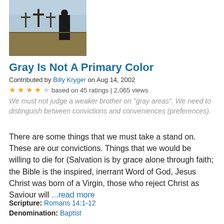[Figure (photo): A person standing in a field with three crosses in the background under a partly cloudy sky.]
Gray Is Not A Primary Color
Contributed by Billy Kryger on Aug 14, 2002
★★★★☆ based on 45 ratings | 2,065 views
We must not judge a weaker brother on "gray areas". We need to distinguish between convictions and conveniences (preferences).
There are some things that we must take a stand on. These are our convictions. Things that we would be willing to die for (Salvation is by grace alone through faith; the Bible is the inspired, inerrant Word of God, Jesus Christ was born of a Virgin, those who reject Christ as Saviour will ...read more
Scripture: Romans 14:1-12
Denomination: Baptist